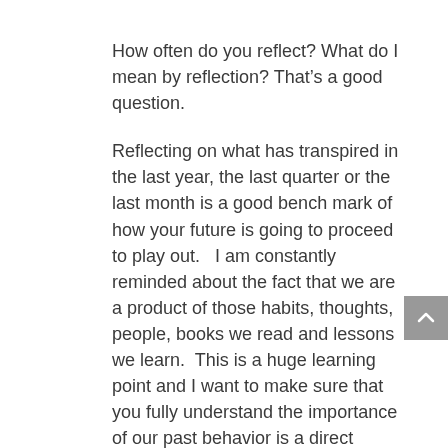How often do you reflect?  What do I mean by reflection?  That's a good question.
Reflecting on what has transpired in the last year, the last quarter or the last month is a good bench mark of how your future is going to proceed to play out.   I am constantly reminded about the fact that we are a product of those habits, thoughts, people, books we read and lessons we learn.  This is a huge learning point and I want to make sure that you fully understand the importance of our past behavior is a direct indicator of what is about to unfold before us.
Each of us is in a state of either downward